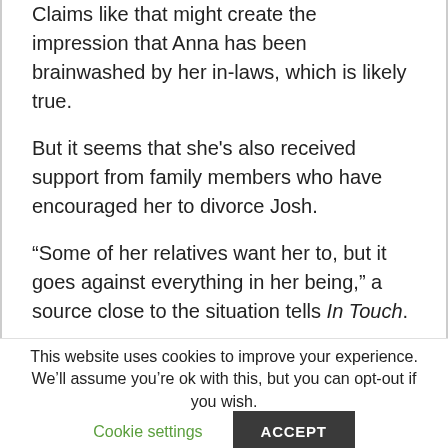Claims like that might create the impression that Anna has been brainwashed by her in-laws, which is likely true.
But it seems that she's also received support from family members who have encouraged her to divorce Josh.
“Some of her relatives want her to, but it goes against everything in her being,” a source close to the situation tells In Touch.
The insider says that Anna “has thought about”
This website uses cookies to improve your experience. We’ll assume you’re ok with this, but you can opt-out if you wish.
Cookie settings
ACCEPT